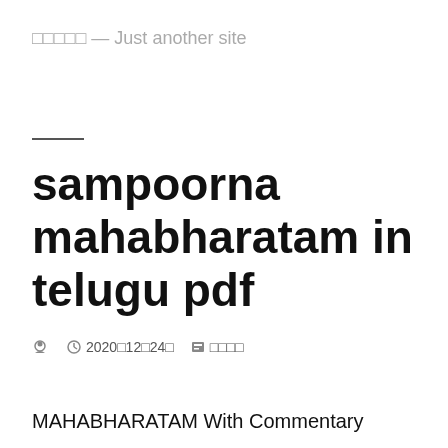□□□□□ — Just another site
sampoorna mahabharatam in telugu pdf
person-icon  clock-icon 2020□12□24□  tag-icon □□□□
MAHABHARATAM With Commentary